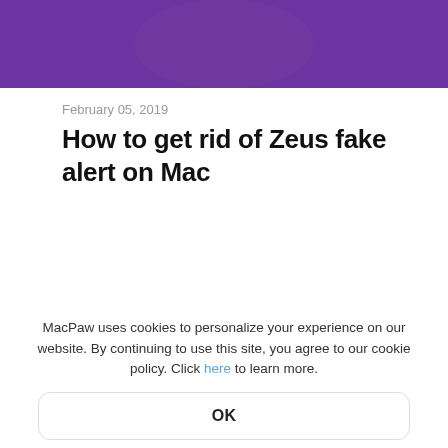[Figure (screenshot): Purple header banner with rounded bottom corners, part of a website header]
February 05, 2019
How to get rid of Zeus fake alert on Mac
[Figure (illustration): Dark black rounded image showing a blue arc/ring with a blue dot in the center, concentric dark circles in background — part of an article thumbnail]
MacPaw uses cookies to personalize your experience on our website. By continuing to use this site, you agree to our cookie policy. Click here to learn more.
OK